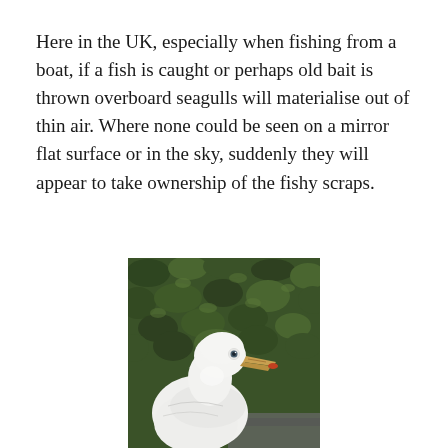Here in the UK, especially when fishing from a boat, if a fish is caught or perhaps old bait is thrown overboard seagulls will materialise out of thin air. Where none could be seen on a mirror flat surface or in the sky, suddenly they will appear to take ownership of the fishy scraps.
[Figure (photo): A white seagull with an orange-tipped beak photographed in close-up against a dark green leafy background, facing right.]